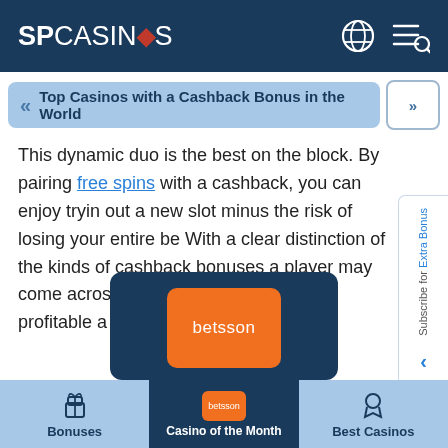SPCASINOS
Top Casinos with a Cashback Bonus in the World
This dynamic duo is the best on the block. By pairing free spins with a cashback, you can enjoy trying out a new slot minus the risk of losing your entire bet. With a clear distinction of the kinds of cashback bonuses a player may come across, it is time to analyse just how profitable a cashback bonus can be.
[Figure (screenshot): Side subscribe panel with text 'Subscribe for Extra Bonus']
[Figure (logo): Betsson casino logo — orange rectangle with 'betsson' text, inside dark blue card labeled Casino of the Month]
Bonuses | Casino of the Month | Best Casinos